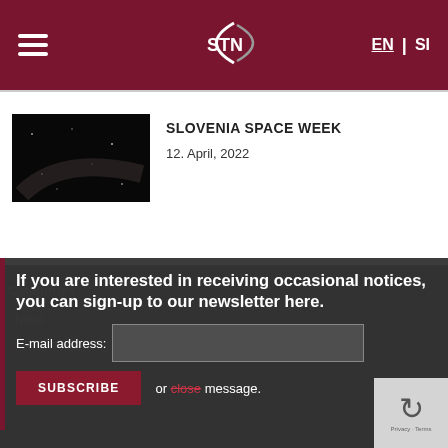STN — EN | SI navigation header
SLOVENIA SPACE WEEK
12. April, 2022
If you are interested in receiving occasional notices, you can sign-up to our newsletter here.
Categories
News
Press Release
E-mail address:
SUBSCRIBE
or close message.